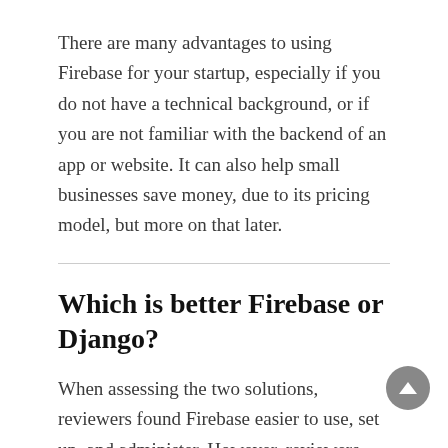There are many advantages to using Firebase for your startup, especially if you do not have a technical background, or if you are not familiar with the backend of an app or website. It can also help small businesses save money, due to its pricing model, but more on that later.
Which is better Firebase or Django?
When assessing the two solutions, reviewers found Firebase easier to use, set up, and administer. However, reviewers preferred doing business with Django overall. When comparing quality of ongoing product support, reviewers felt that Firebase is the preferred option.